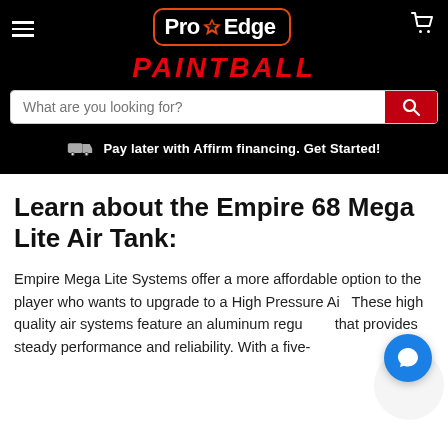[Figure (logo): Pro Edge Paintball logo with star icon, hamburger menu, and cart icon on black background with search bar and Affirm financing notice]
Learn about the Empire 68 Mega Lite Air Tank:
Empire Mega Lite Systems offer a more affordable option to the player who wants to upgrade to a High Pressure Air. These high quality air systems feature an aluminum regulator that provides steady performance and reliability. With a five-